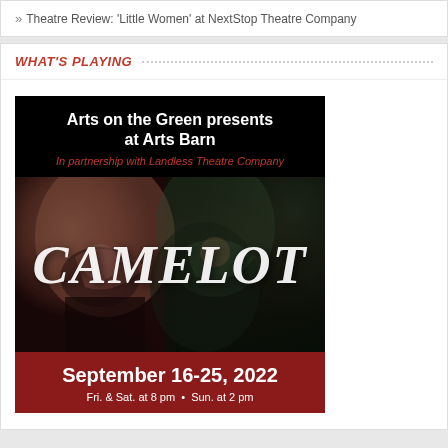Theatre Review: 'Little Women' at NextStop Theatre Company
WHAT'S PLAYING
[Figure (illustration): Advertisement for Arts on the Green presents at Arts Barn, in partnership with Landless Theatre Company. Shows the musical CAMELOT with a dramatic image of two figures in medieval costume. Running September 16-25, 2022, Fri. & Sat. at 8 pm • Sun. at 2 pm.]